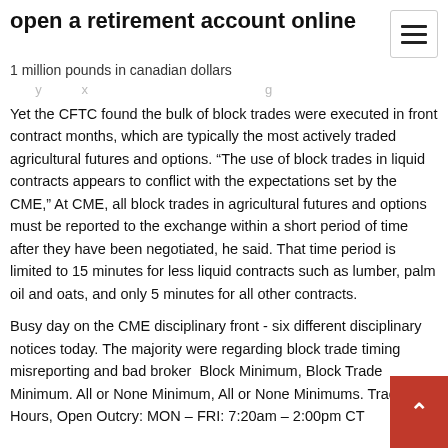open a retirement account online
1 million pounds in canadian dollars
Yet the CFTC found the bulk of block trades were executed in front contract months, which are typically the most actively traded agricultural futures and options. “The use of block trades in liquid contracts appears to conflict with the expectations set by the CME,” At CME, all block trades in agricultural futures and options must be reported to the exchange within a short period of time after they have been negotiated, he said. That time period is limited to 15 minutes for less liquid contracts such as lumber, palm oil and oats, and only 5 minutes for all other contracts.
Busy day on the CME disciplinary front - six different disciplinary notices today. The majority were regarding block trade timing misreporting and bad broker  Block Minimum, Block Trade Minimum. All or None Minimum, All or None Minimums. Trading Hours, Open Outcry: MON – FRI: 7:20am – 2:00pm CT